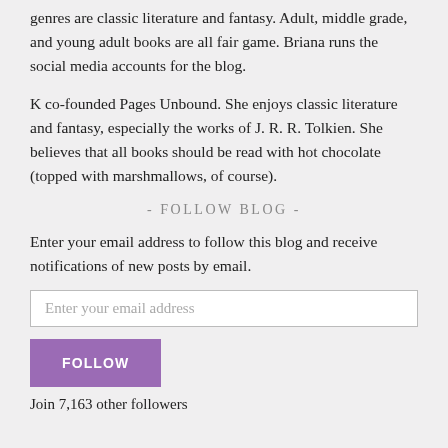genres are classic literature and fantasy. Adult, middle grade, and young adult books are all fair game. Briana runs the social media accounts for the blog.
K co-founded Pages Unbound. She enjoys classic literature and fantasy, especially the works of J. R. R. Tolkien. She believes that all books should be read with hot chocolate (topped with marshmallows, of course).
- FOLLOW BLOG -
Enter your email address to follow this blog and receive notifications of new posts by email.
Enter your email address
FOLLOW
Join 7,163 other followers